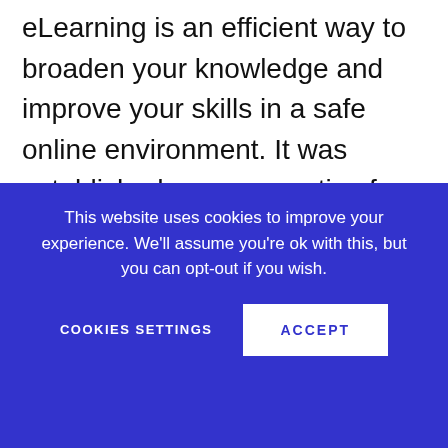eLearning is an efficient way to broaden your knowledge and improve your skills in a safe online environment. It was established as a supportive form of learning in the past, but it has achieved the leading role at present. It has even more supporters now since the COVID-19 pandemic has changed our lives and made us think about how we can function better online. The demand for online courses has increased significantly. Research and Markets forecast that the online eLearning market will reach $350 billion by 2025. The media
This website uses cookies to improve your experience. We'll assume you're ok with this, but you can opt-out if you wish.
COOKIES SETTINGS
ACCEPT